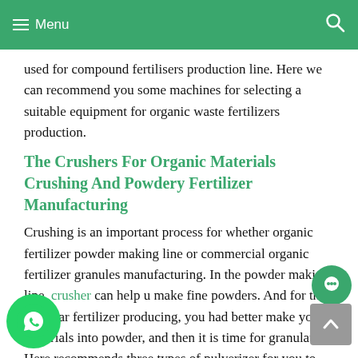Menu
used for compound fertilisers production line. Here we can recommend you some machines for selecting a suitable equipment for organic waste fertilizers production.
The Crushers For Organic Materials Crushing And Powdery Fertilizer Manufacturing
Crushing is an important process for whether organic fertilizer powder making line or commercial organic fertilizer granules manufacturing. In the powder making line, crusher can help u make fine powders. And for the granular fertilizer producing, you had better make your materials into powder, and then it is time for granulating. Here recommends three types of pulverizer for you to make fine powder.
organic fertilizer vertical crusher for sale
vertical type crushing machine can puliverize the high moisture content organic materilas directly. And it can crush